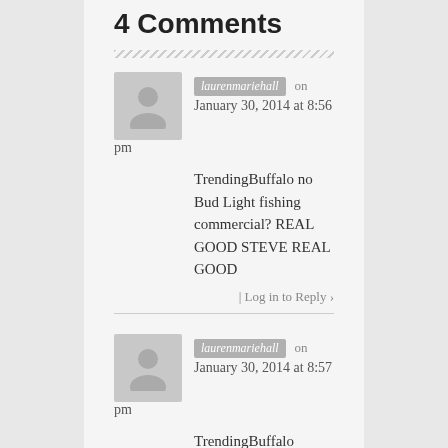4 Comments
laurenmariehall on January 30, 2014 at 8:56 pm
TrendingBuffalo no Bud Light fishing commercial? REAL GOOD STEVE REAL GOOD
Log in to Reply ›
laurenmariehall on January 30, 2014 at 8:57 pm
TrendingBuffalo **blue